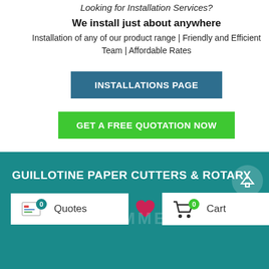Looking for Installation Services?
We install just about anywhere
Installation of any of our product range | Friendly and Efficient Team | Affordable Rates
INSTALLATIONS PAGE
GET A FREE QUOTATION NOW
GUILLOTINE PAPER CUTTERS & ROTARY
Quotes
Cart